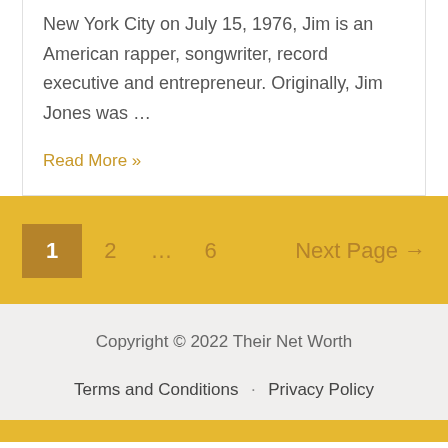New York City on July 15, 1976, Jim is an American rapper, songwriter, record executive and entrepreneur. Originally, Jim Jones was …
Read More »
1
2
…
6
Next Page →
Copyright © 2022 Their Net Worth
Terms and Conditions · Privacy Policy